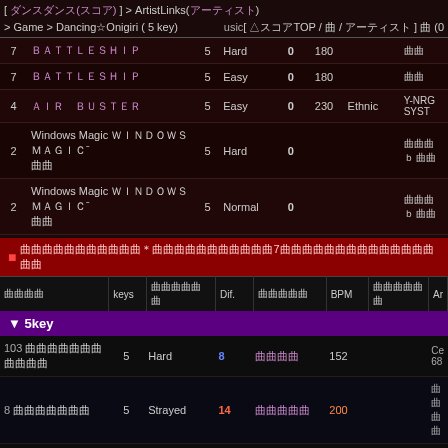[ ダンスダンス(スコア) ] > ArtistLinks(アーティスト) [ △スコアTOP / 曲 / アーティスト ] 曲(0) > Game > Dancing☆Onigiri ( 5 key) usicTop
| rank | title | keys | diff | score | BPM | genre | artist |
| --- | --- | --- | --- | --- | --- | --- | --- |
| 7 | ＢＡＴＴＬＥＳＨＩＰˉ | 5 | Hard | 0 | 180 |  | 曲 |
| 7 | ＢＡＴＴＬＥＳＨＩＰˉ | 5 | Easy | 0 | 180 |  | 曲 |
| 4 | ＡＩＲ ＢＵＳＴＥＲ | 5 | Easy | 0 | 230 | Ethnic | Y-NRG SYST |
| 2 | Windows Magic ＷＩＮＤＯＷＳＭＡＧＩＣˉ 曲 | 5 | Hard | 0 |  |  | 曲曲 ｂ 曲曲 |
| 2 | Windows Magic ＷＩＮＤＯＷＳＭＡＧＩＣˉ 曲 | 5 | Normal | 0 |  |  | 曲曲 ｂ 曲曲 |
曲曲曲曲曲曲曲曲曲曲曲＊曲曲曲曲曲曲曲曲曲曲曲7曲曲曲曲曲曲曲曲曲曲曲曲曲曲曲曲
| 曲曲曲曲 | keys | 曲曲曲曲曲曲 | Dif. | 曲曲曲曲曲 | BPM | 曲曲曲曲曲曲 | Ar |
| --- | --- | --- | --- | --- | --- | --- | --- |
| 103 | 曲曲曲曲曲曲曲曲曲曲曲 | 5 | Hard | 8 | 曲曲曲曲 | 152 | Ce 68 |
| 8 | 曲曲曲曲曲曲曲 | 5 | Strayed | 14 | 曲曲曲曲曲 | 200 | 曲曲 曲曲 |
| 2 | 曲曲曲曲曲曲曲(曲曲曲曲曲曲曲) | 5 | Normal | 4 | Autumn Leaves | 100 | So |
| 145 | Air | 5 | Easy | 7 | 曲曲曲曲 | 178 | Trance Core | Sk |